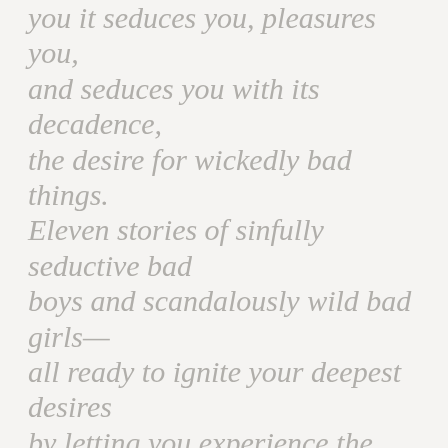you it seduces you, pleasures you, and seduces you with its decadence, the desire for wickedly bad things. Eleven stories of sinfully seductive bad boys and scandalously wild bad girls—all ready to ignite your deepest desires by letting you experience the daring side of romance. A blackmailing hacker. An infamous cage fighter. The Sergeant at Arms of a criminal MC. They're breaking bad with shameless temptation...and they are downright irresistible. Do you want to be taken to the edge?